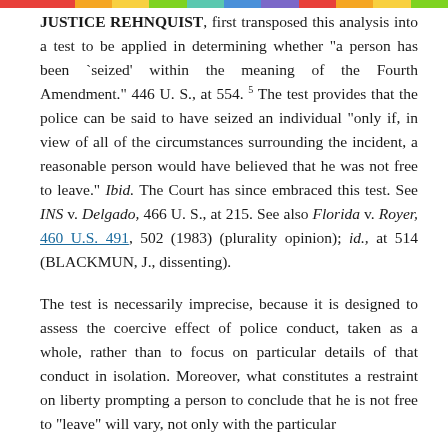JUSTICE REHNQUIST, first transposed this analysis into a test to be applied in determining whether "a person has been `seized' within the meaning of the Fourth Amendment." 446 U. S., at 554. 5 The test provides that the police can be said to have seized an individual "only if, in view of all of the circumstances surrounding the incident, a reasonable person would have believed that he was not free to leave." Ibid. The Court has since embraced this test. See INS v. Delgado, 466 U. S., at 215. See also Florida v. Royer, 460 U.S. 491, 502 (1983) (plurality opinion); id., at 514 (BLACKMUN, J., dissenting).
The test is necessarily imprecise, because it is designed to assess the coercive effect of police conduct, taken as a whole, rather than to focus on particular details of that conduct in isolation. Moreover, what constitutes a restraint on liberty prompting a person to conclude that he is not free to "leave" will vary, not only with the particular